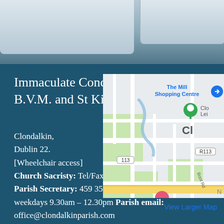Immaculate Conception of the B.V.M. and St Killian
Clondalkin,
Dublin 22.
[Wheelchair access]
Church Sacristy: Tel/Fax: 459 3520.
Parish Secretary: 459 3520, weekdays 9.30am – 12.30pm Parish email:
office@clondalkinparish.com
[Figure (map): Google map showing Clondalkin area with The Mill Shopping Centre, road R113, Boot Rd visible, and a green location pin marker]
View Larger Map